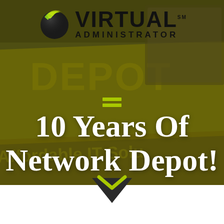[Figure (logo): Virtual Administrator logo with green globe icon and bold black text reading VIRTUAL ADMINISTRATOR]
[Figure (infographic): Background photo of Network Depot yellow signage reading 'Affordable IT Solutions', overlaid with dark tinted overlay and decorative green horizontal bars icon]
10 Years Of Network Depot!